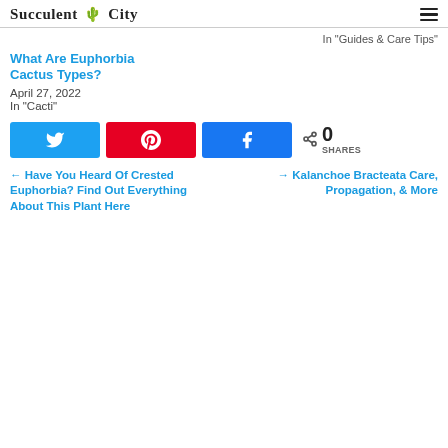Succulent City
In "Guides & Care Tips"
What Are Euphorbia Cactus Types?
April 27, 2022
In "Cacti"
[Figure (other): Social share buttons: Twitter, Pinterest, Facebook, and share count showing 0 SHARES]
← Have You Heard Of Crested Euphorbia? Find Out Everything About This Plant Here   → Kalanchoe Bracteata Care, Propagation, & More